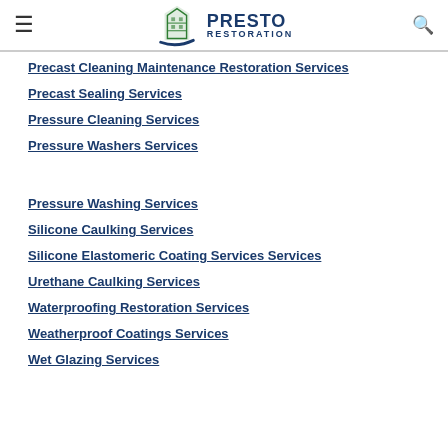Presto Restoration
Precast Cleaning Maintenance Restoration Services
Precast Sealing Services
Pressure Cleaning Services
Pressure Washers Services
Pressure Washing Services
Silicone Caulking Services
Silicone Elastomeric Coating Services Services
Urethane Caulking Services
Waterproofing Restoration Services
Weatherproof Coatings Services
Wet Glazing Services